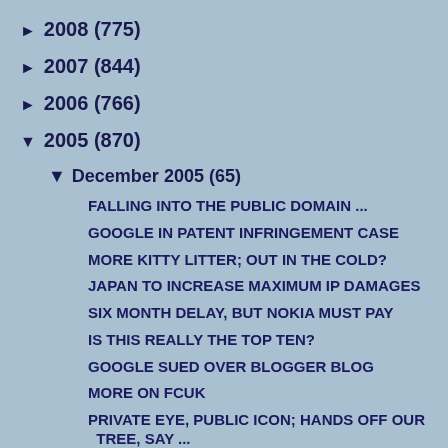► 2008 (775)
► 2007 (844)
► 2006 (766)
▼ 2005 (870)
▼ December 2005 (65)
FALLING INTO THE PUBLIC DOMAIN ...
GOOGLE IN PATENT INFRINGEMENT CASE
MORE KITTY LITTER; OUT IN THE COLD?
JAPAN TO INCREASE MAXIMUM IP DAMAGES
SIX MONTH DELAY, BUT NOKIA MUST PAY
IS THIS REALLY THE TOP TEN?
GOOGLE SUED OVER BLOGGER BLOG
MORE ON FCUK
PRIVATE EYE, PUBLIC ICON; HANDS OFF OUR TREE, SAY ...
NEW ISSUE OF THE EIPR
COPYRIGHT WORLD; NEW BLOG ON THE BLOCK